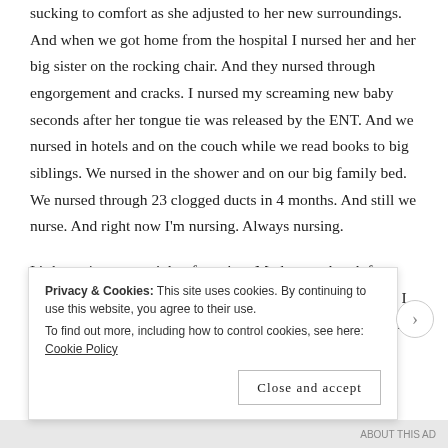sucking to comfort as she adjusted to her new surroundings. And when we got home from the hospital I nursed her and her big sister on the rocking chair. And they nursed through engorgement and cracks. I nursed my screaming new baby seconds after her tongue tie was released by the ENT. And we nursed in hotels and on the couch while we read books to big siblings. We nursed in the shower and on our big family bed. We nursed through 23 clogged ducts in 4 months. And still we nurse. And right now I'm nursing. Always nursing.
It's been 4 years straight of nursing. My longest break from nursing was 48 hours. I have tandem nursed for 18 months. I have loved it. I have hated it. It has been exciting. It has been mundane.
Privacy & Cookies: This site uses cookies. By continuing to use this website, you agree to their use. To find out more, including how to control cookies, see here: Cookie Policy
Close and accept